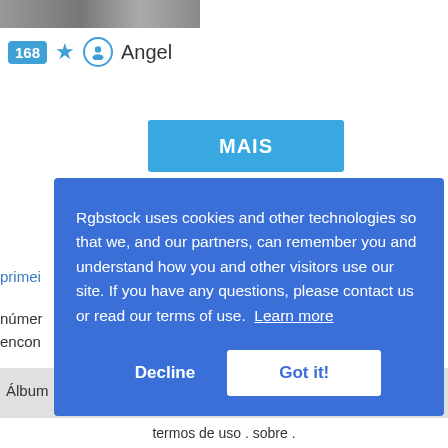[Figure (screenshot): Top partial image strip showing a photo (partially visible at top)]
168 ★ 🧑 Angel
MAIS
primei
númer
encon
Álbum
a .
termos de uso . sobre .
Rgbstock uses cookies and other technologies so that we, and our partners, can remember you and understand how you and other visitors use our site. If you have any questions, please contact us or read our terms of use. Learn more
Decline
Got it!